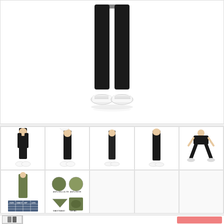[Figure (photo): Main product photo showing close-up of a person's legs wearing black leggings/tights with white sneakers, bottom portion of legs and shoes visible from knee down, white background]
[Figure (photo): Thumbnail 1: Woman wearing black high-waist leggings, front-side view, full body]
[Figure (photo): Thumbnail 2: Woman wearing black leggings, back view, full body with white sneakers]
[Figure (photo): Thumbnail 3: Woman wearing black leggings, front view, full body]
[Figure (photo): Thumbnail 4: Woman wearing black leggings, back-side view, full body]
[Figure (photo): Thumbnail 5: Woman in black sports bra and black leggings doing a squat, side view]
[Figure (photo): Thumbnail 6: Woman wearing olive/army green leggings with size chart table shown, full body]
[Figure (photo): Thumbnail 7: Close-up detail shots of olive/army green leggings fabric texture and waistband design, four panel composite image]
[Figure (photo): Bottom bar showing small product thumbnail on left and pink/coral add-to-cart button on right]